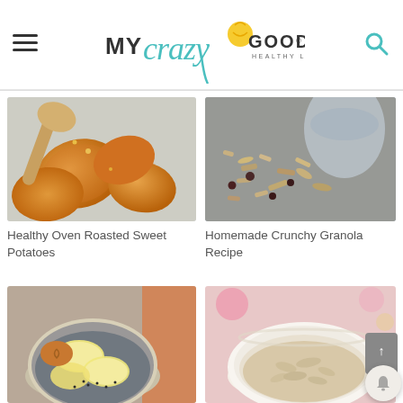MY crazy GOOD LIFE - HEALTHY LIVING MADE EASY
[Figure (photo): Healthy oven roasted sweet potato slices on a light surface with a wooden spoon]
[Figure (photo): Homemade crunchy granola spilling out of a glass jar onto a surface]
Healthy Oven Roasted Sweet Potatoes
Homemade Crunchy Granola Recipe
[Figure (photo): Chia pudding bowl with banana slices and peanut butter]
[Figure (photo): Bowl of cooked oatmeal on a white plate with floral background]